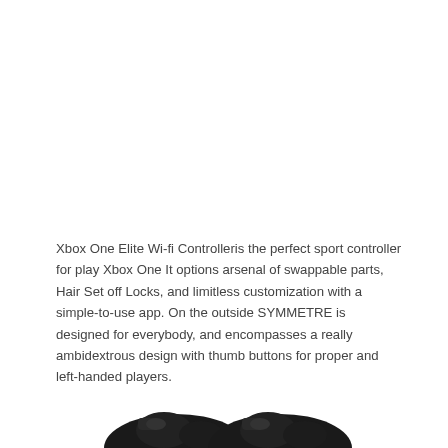Xbox One Elite Wi-fi Controlleris the perfect sport controller for play Xbox One It options arsenal of swappable parts, Hair Set off Locks, and limitless customization with a simple-to-use app. On the outside SYMMETRE is designed for everybody, and encompasses a really ambidextrous design with thumb buttons for proper and left-handed players.
[Figure (photo): Photo of two Xbox One Elite controllers, dark/black colored, shown from above at slight angle, cropped at bottom of page]